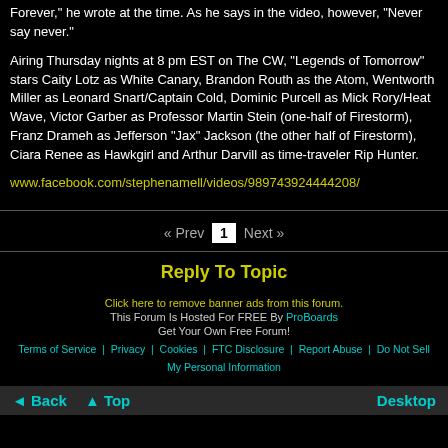Forever," he wrote at the time. As he says in the video, however, "Never say never."
Airing Thursday nights at 8 pm EST on The CW, "Legends of Tomorrow" stars Caity Lotz as White Canary, Brandon Routh as the Atom, Wentworth Miller as Leonard Snart/Captain Cold, Dominic Purcell as Mick Rory/Heat Wave, Victor Garber as Professor Martin Stein (one-half of Firestorm), Franz Drameh as Jefferson "Jax" Jackson (the other half of Firestorm), Ciara Renee as Hawkgirl and Arthur Darvill as time-traveler Rip Hunter.
www.facebook.com/stephenamell/videos/989743924444208/
« Prev  1  Next »
Reply To Topic
Click here to remove banner ads from this forum.
This Forum Is Hosted For FREE By ProBoards
Get Your Own Free Forum!
Terms of Service   Privacy   Cookies   FTC Disclosure   Report Abuse   Do Not Sell My Personal Information
◄ Back  ▲ Top  Desktop